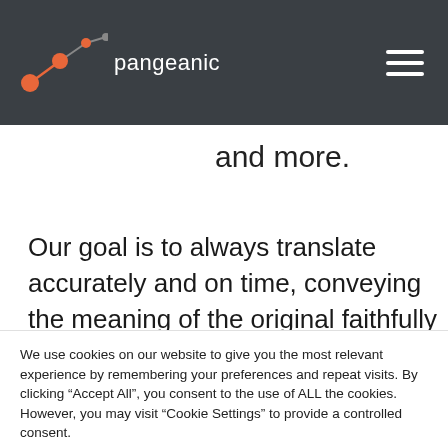[Figure (logo): Pangeanic logo with orange dots connected by lines, white text 'pangeanic' on dark background header]
and more.
Our goal is to always translate accurately and on time, conveying the meaning of the original faithfully when it comes to French technical translations and French medical translations,
We use cookies on our website to give you the most relevant experience by remembering your preferences and repeat visits. By clicking “Accept All”, you consent to the use of ALL the cookies. However, you may visit "Cookie Settings" to provide a controlled consent.